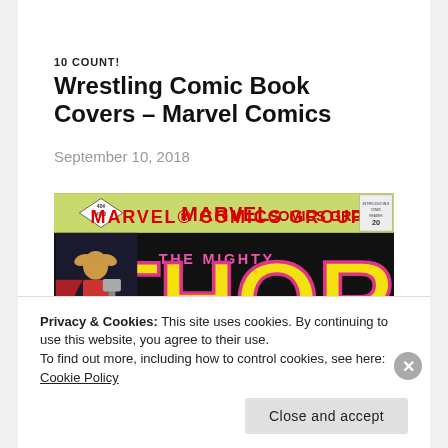10 COUNT!
Wrestling Comic Book Covers – Marvel Comics
September 10, 2018
[Figure (photo): Cover of The Mighty Thor Marvel Comics Group issue #290, 40 cents. Features large yellow 'THOR' text on black background with pink outlines. Thor character shown on left side in armor with hammer. Marvel Comics Group logo banner at top.]
Privacy & Cookies: This site uses cookies. By continuing to use this website, you agree to their use.
To find out more, including how to control cookies, see here: Cookie Policy
Close and accept